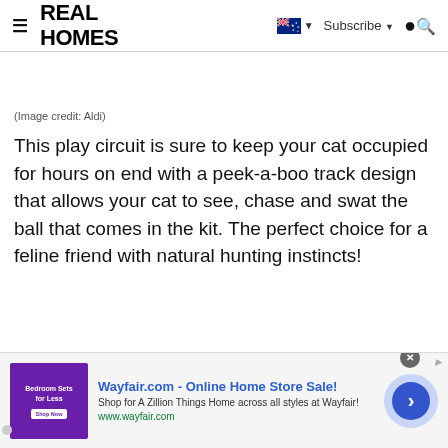REAL HOMES
(Image credit: Aldi)
This play circuit is sure to keep your cat occupied for hours on end with a peek-a-boo track design that allows your cat to see, chase and swat the ball that comes in the kit. The perfect choice for a feline friend with natural hunting instincts!
[Figure (screenshot): Wayfair.com advertisement banner: Online Home Store Sale! Shop for A Zillion Things Home across all styles at Wayfair! www.wayfair.com]